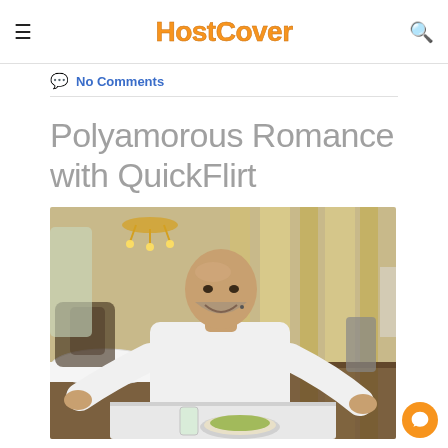HostCover
No Comments
Polyamorous Romance with QuickFlirt
[Figure (photo): A bald smiling man in a white shirt sitting at a restaurant table with food and drinks, gesturing with his hands. The restaurant has chandeliers and striped yellow and beige walls.]